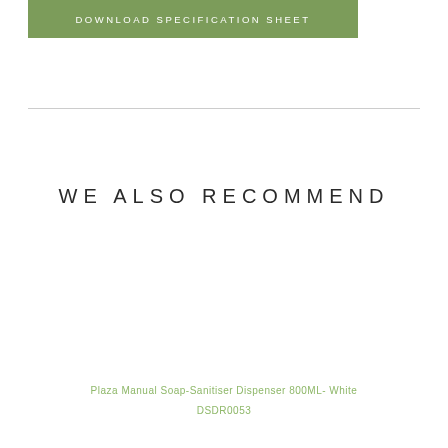DOWNLOAD SPECIFICATION SHEET
WE ALSO RECOMMEND
Plaza Manual Soap-Sanitiser Dispenser 800ML- White
DSDR0053